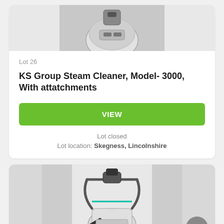[Figure (photo): Top portion of a steam cleaner machine, white/grey color, viewed from above on a grey floor]
Lot 26
KS Group Steam Cleaner, Model- 3000, With attatchments
VIEW
Lot closed
Lot location: Skegness, Lincolnshire
[Figure (photo): Steam cleaner machine with hoses and attachments, white/grey body with black hose, viewed from front on grey floor]